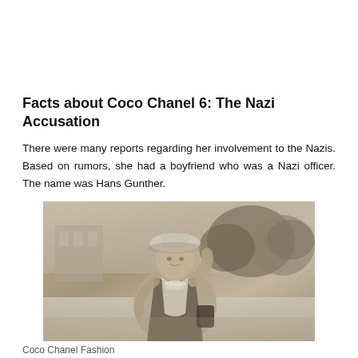Facts about Coco Chanel 6: The Nazi Accusation
There were many reports regarding her involvement to the Nazis. Based on rumors, she had a boyfriend who was a Nazi officer. The name was Hans Gunther.
[Figure (photo): Black and white sepia-toned photograph of Coco Chanel wearing a hat, pearl necklace, and jacket, smiling outdoors with trees and a building in the background.]
Coco Chanel Fashion